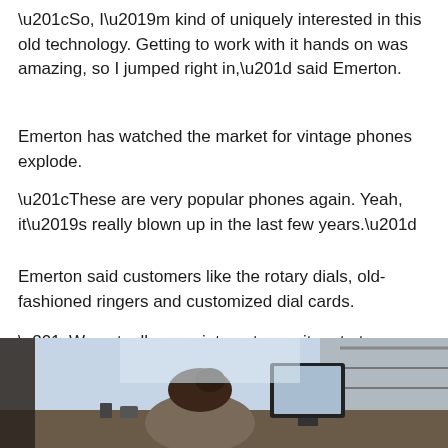“So, I’m kind of uniquely interested in this old technology. Getting to work with it hands on was amazing, so I jumped right in,” said Emerton.
Emerton has watched the market for vintage phones explode.
“These are very popular phones again. Yeah, it’s really blown up in the last few years.”
Emerton said customers like the rotary dials, old-fashioned ringers and customized dial cards.
“We actually use vintage typewriters to type people’s custom dial cards and numbers onto their telephones. That’s a big request. Most people want their custom number, or a number they had growing up.”
[Figure (photo): A person sitting at a desk, viewed from behind, with a computer monitor and shelving visible in a shop or workshop setting.]